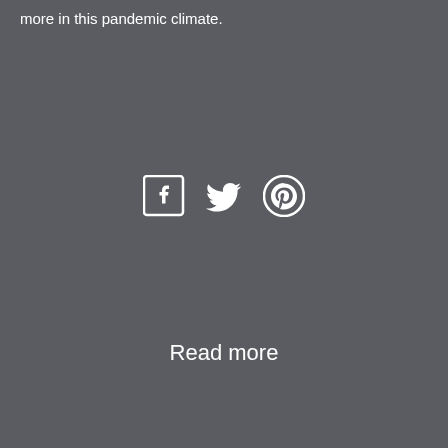more in this pandemic climate.
[Figure (illustration): Social media share icons: Facebook, Twitter, Pinterest]
Read more